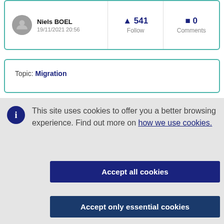| User | Follow | Comments |
| --- | --- | --- |
| Niels BOEL
19/11/2021 20:56 | ▲ 541
Follow | ■ 0
Comments |
Topic: Migration
This site uses cookies to offer you a better browsing experience. Find out more on how we use cookies.
Accept all cookies
Accept only essential cookies